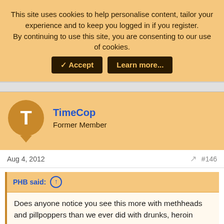This site uses cookies to help personalise content, tailor your experience and to keep you logged in if you register. By continuing to use this site, you are consenting to our use of cookies.
✓ Accept  Learn more...
TimeCop
Former Member
Aug 4, 2012
#146
PHB said:
Does anyone notice you see this more with methheads and pillpoppers than we ever did with drunks, heroin addicts and crackheads, etc, 10+ years ago? Maybe because we all have 24/7 access to news now, or is there something different about meth and